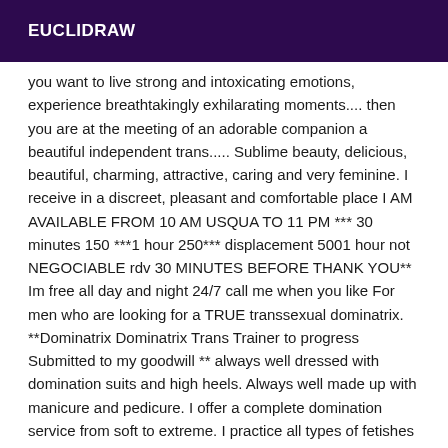EUCLIDRAW
you want to live strong and intoxicating emotions, experience breathtakingly exhilarating moments.... then you are at the meeting of an adorable companion a beautiful independent trans..... Sublime beauty, delicious, beautiful, charming, attractive, caring and very feminine. I receive in a discreet, pleasant and comfortable place I AM AVAILABLE FROM 10 AM USQUA TO 11 PM *** 30 minutes 150 ***1 hour 250*** displacement 5001 hour not NEGOCIABLE rdv 30 MINUTES BEFORE THANK YOU** Im free all day and night 24/7 call me when you like For men who are looking for a TRUE transsexual dominatrix. **Dominatrix Dominatrix Trans Trainer to progress Submitted to my goodwill ** always well dressed with domination suits and high heels. Always well made up with manicure and pedicure. I offer a complete domination service from soft to extreme. I practice all types of fetishes and role-playing without exception. Beginners are always